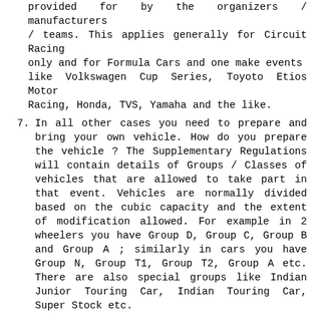provided for by the organizers / manufacturers / teams. This applies generally for Circuit Racing only and for Formula Cars and one make events like Volkswagen Cup Series, Toyoto Etios Motor Racing, Honda, TVS, Yamaha and the like.
7. In all other cases you need to prepare and bring your own vehicle. How do you prepare the vehicle ? The Supplementary Regulations will contain details of Groups / Classes of vehicles that are allowed to take part in that event. Vehicles are normally divided based on the cubic capacity and the extent of modification allowed. For example in 2 wheelers you have Group D, Group C, Group B and Group A ; similarly in cars you have Group N, Group T1, Group T2, Group A etc. There are also special groups like Indian Junior Touring Car, Indian Touring Car, Super Stock etc.
8. All the Sporting and Technical Regulations for